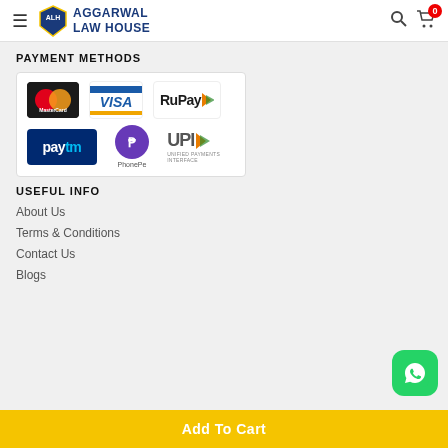Aggarwal Law House
PAYMENT METHODS
[Figure (logo): Payment methods logos: MasterCard, VISA, RuPay, Paytm, PhonePe, UPI]
USEFUL INFO
About Us
Terms & Conditions
Contact Us
Blogs
[Figure (logo): WhatsApp button icon]
Add To Cart